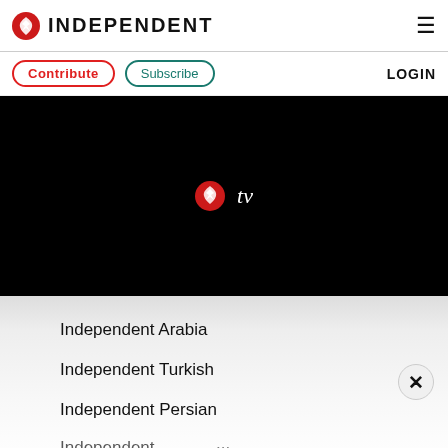INDEPENDENT
Contribute  Subscribe  LOGIN
[Figure (screenshot): Black video player area with Independent TV logo (red eagle icon and 'tv' text in white) centered on a black background]
Independent Arabia
Independent Turkish
Independent Persian